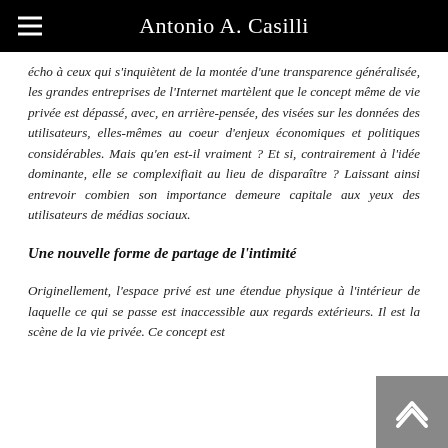Antonio A. Casilli
écho à ceux qui s'inquiètent de la montée d'une transparence généralisée, les grandes entreprises de l'Internet martèlent que le concept même de vie privée est dépassé, avec, en arrière-pensée, des visées sur les données des utilisateurs, elles-mêmes au coeur d'enjeux économiques et politiques considérables. Mais qu'en est-il vraiment ? Et si, contrairement à l'idée dominante, elle se complexifiait au lieu de disparaître ? Laissant ainsi entrevoir combien son importance demeure capitale aux yeux des utilisateurs de médias sociaux.
Une nouvelle forme de partage de l'intimité
Originellement, l'espace privé est une étendue physique à l'intérieur de laquelle ce qui se passe est inaccessible aux regards extérieurs. Il est la scène de la vie privée. Ce concept est